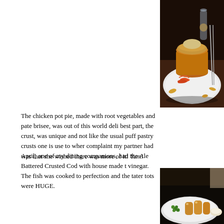[Figure (photo): Photo of a chicken pot pie in a copper pot on a white plate, served at a restaurant. The pie has a golden-brown pastry crust and is garnished with shredded carrots on a wooden table.]
The chicken pot pie, made with root vegetables and pate brisee, was out of this world deli best part, the crust, was unique and not like the usual puff pastry crusts one is use to wher complaint my partner had was that she wished there was more of it! Yum!
April, one of my dining companions, had the Ale Battered Crusted Cod with house made t vinegar. The fish was cooked to perfection and the tater tots were HUGE.
[Figure (photo): Photo of Ale Battered Crusted Cod with tater tots on a white plate, served at a restaurant. The dish includes fried fish pieces and large tater tots with a dipping sauce.]